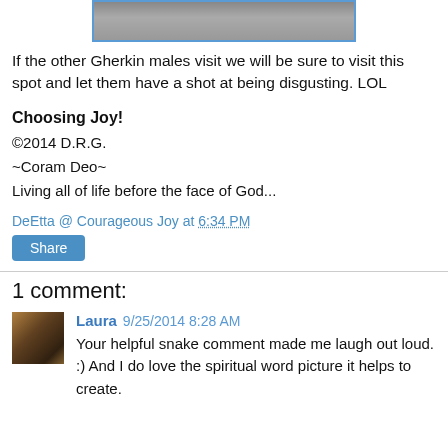[Figure (photo): Partial photo strip showing a blurry image, cropped at top of page, with blue border]
If the other Gherkin males visit we will be sure to visit this spot and let them have a shot at being disgusting. LOL
Choosing Joy!
©2014 D.R.G.
~Coram Deo~
Living all of life before the face of God...
DeEtta @ Courageous Joy at 6:34 PM
Share
1 comment:
Laura 9/25/2014 8:28 AM
Your helpful snake comment made me laugh out loud. :) And I do love the spiritual word picture it helps to create.